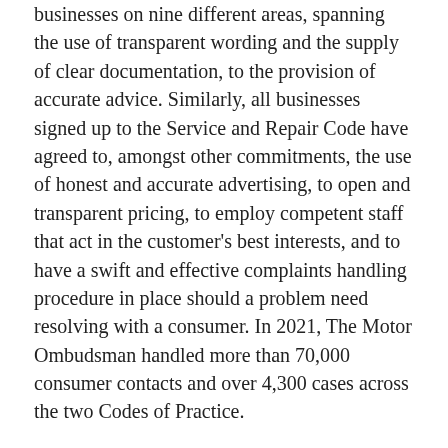businesses on nine different areas, spanning the use of transparent wording and the supply of clear documentation, to the provision of accurate advice. Similarly, all businesses signed up to the Service and Repair Code have agreed to, amongst other commitments, the use of honest and accurate advertising, to open and transparent pricing, to employ competent staff that act in the customer's best interests, and to have a swift and effective complaints handling procedure in place should a problem need resolving with a consumer. In 2021, The Motor Ombudsman handled more than 70,000 consumer contacts and over 4,300 cases across the two Codes of Practice.
Sureyya Cansoy, Head of Business Services & Engagement at The Motor Ombudsman, said: “The accreditation of the Care by Volvo subscription service to our Codes of Practice further strengthens our long-running relationship with the Volvo marque, and extends the coverage to consumers looking to...